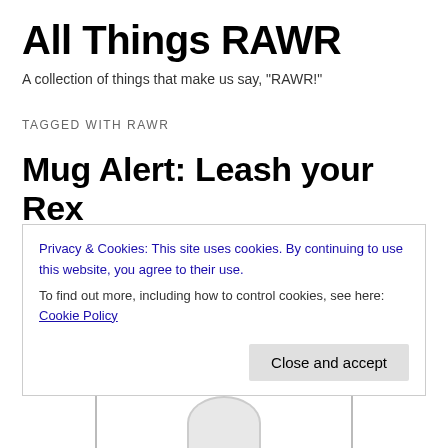All Things RAWR
A collection of things that make us say, "RAWR!"
TAGGED WITH RAWR
Mug Alert: Leash your Rex
My inner RAWR is a little too rambunctious to be allowed off-leash in public (very often). Most of the time you'll find me wandering around my daily life looking more like I got
Privacy & Cookies: This site uses cookies. By continuing to use this website, you agree to their use.
To find out more, including how to control cookies, see here: Cookie Policy
Close and accept